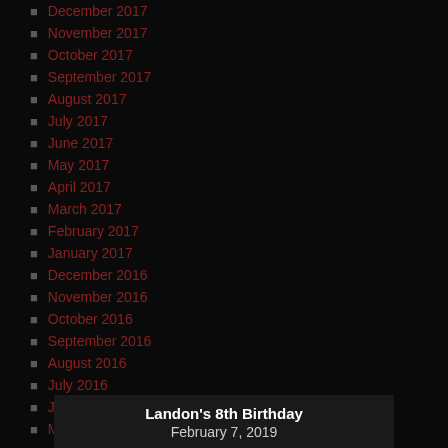December 2017
November 2017
October 2017
September 2017
August 2017
July 2017
June 2017
May 2017
April 2017
March 2017
February 2017
January 2017
December 2016
November 2016
October 2016
September 2016
August 2016
July 2016
June 2016
May 2016
Landon's 8th Birthday
February 7, 2019